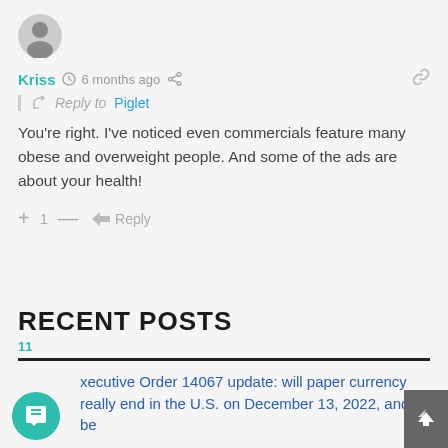[Figure (illustration): Generic user avatar - gray circle with person silhouette icon]
Kriss  6 months ago  Reply to Piglet
You're right. I've noticed even commercials feature many obese and overweight people. And some of the ads are about your health!
+ 1 —  Reply
RECENT POSTS
Executive Order 14067 update: will paper currency really end in the U.S. on December 13, 2022, and be